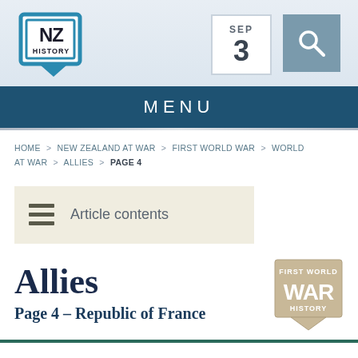[Figure (logo): NZ History logo — shield shape with 'NZ' text and 'HISTORY' below, teal/blue border with downward pointer]
[Figure (other): SEP / 3 date box — white box with border showing SEP label and 3 below]
[Figure (other): Search icon — teal/grey square with magnifying glass icon]
MENU
HOME > NEW ZEALAND AT WAR > FIRST WORLD WAR > WORLD AT WAR > ALLIES > PAGE 4
Article contents
Allies
Page 4 – Republic of France
[Figure (logo): First World War War History badge — tan/beige square badge with downward pointer, text: FIRST WORLD WAR HISTORY]